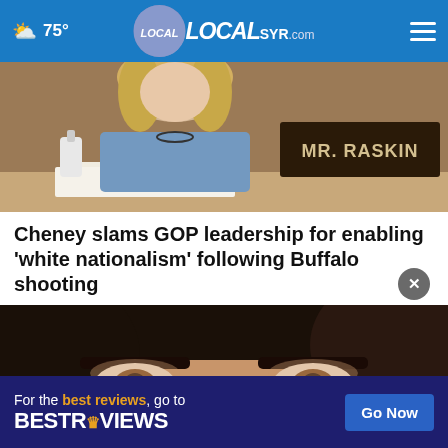75° LOCAL SYR.com
[Figure (photo): Close-up photo of a blonde woman at what appears to be a congressional hearing, with a nameplate visible in the background reading 'MR. RASKIN']
Cheney slams GOP leadership for enabling ‘white nationalism’ following Buffalo shooting
[Figure (photo): Close-up photo of a dark-haired woman appearing to wipe her nose or face with a tissue or cloth]
For the best reviews, go to BESTREVIEWS